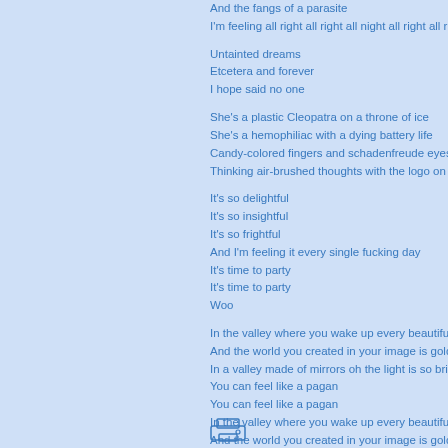And the fangs of a parasite
I'm feeling all right all right all night all right all right all r

Untainted dreams
Etcetera and forever
I hope said no one

She's a plastic Cleopatra on a throne of ice
She's a hemophiliac with a dying battery life
Candy-colored fingers and schadenfreude eyes
Thinking air-brushed thoughts with the logo on her min

It's so delightful
It's so insightful
It's so frightful
And I'm feeling it every single fucking day
It's time to party
It's time to party
Woo

In the valley where you wake up every beautiful day
And the world you created in your image is golden
In a valley made of mirrors oh the light is so bright
You can feel like a pagan
You can feel like a pagan
In the valley where you wake up every beautiful day
And the world you created in your image is golden
In a valley made of mirrors oh the light is so bright
You can feel like a pagan
You can feel like a pagan
In the valley valley
In the valley valley
In the valley valley
Feel like a pagan
[Figure (illustration): Small printer or cassette icon in blue outline style]